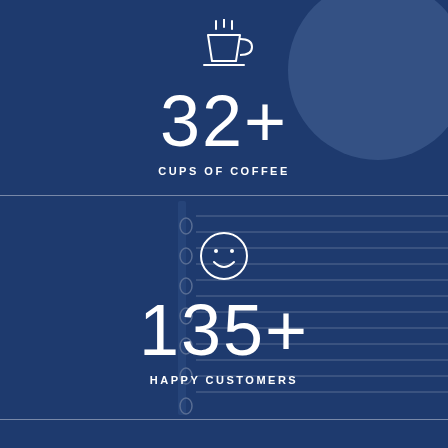[Figure (infographic): Coffee cup icon with steam lines above it, white outline style on dark navy blue background with circular decorative element]
32+
CUPS OF COFFEE
[Figure (infographic): Smiley face circle icon, white outline style on dark navy blue background with notebook/spiral binder decorative element]
135+
HAPPY CUSTOMERS